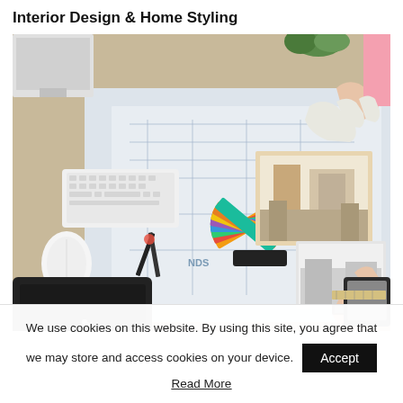Interior Design & Home Styling
[Figure (photo): Overhead view of an interior design workspace with blueprint plans, color swatches, a keyboard, mouse, graphics tablet, scissors, pencils, gloves, and two people's hands holding design photos and samples.]
We use cookies on this website. By using this site, you agree that we may store and access cookies on your device.
Accept
Read More